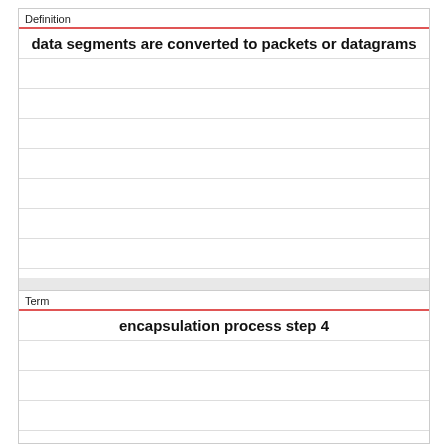Definition
data segments are converted to packets or datagrams
Term
encapsulation process step 4